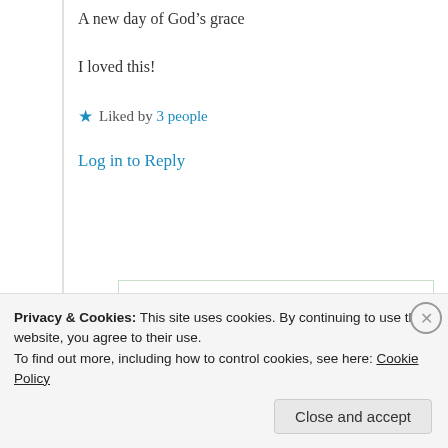A new day of God’s grace
I loved this!
★ Liked by 3 people
Log in to Reply
Suma Reddy
25th Jun 2021 at 6:42 pm
Privacy & Cookies: This site uses cookies. By continuing to use this website, you agree to their use.
To find out more, including how to control cookies, see here: Cookie Policy